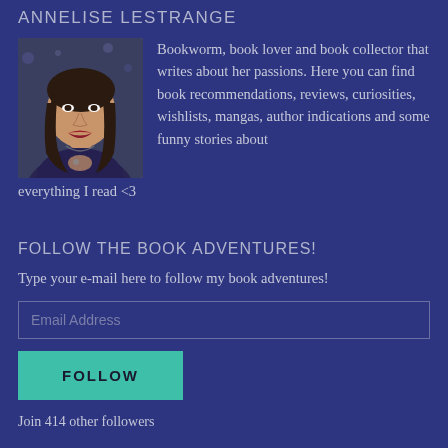ANNELISE LESTRANGE
[Figure (photo): Portrait photo of Annelise Lestrange, a woman with dark hair and red lipstick wearing a lace-pattern top]
Bookworm, book lover and book collector that writes about her passions. Here you can find book recommendations, reviews, curiosities, wishlists, mangas, author indications and some funny stories about everything I read <3
FOLLOW THE BOOK ADVENTURES!
Type your e-mail here to follow my book adventures!
Email Address
FOLLOW
Join 414 other followers